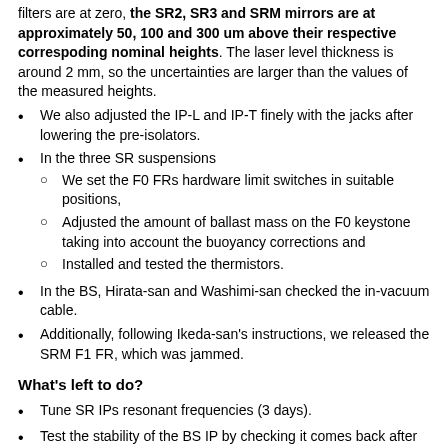filters are at zero, the SR2, SR3 and SRM mirrors are at approximately 50, 100 and 300 um above their respective correspoding nominal heights. The laser level thickness is around 2 mm, so the uncertainties are larger than the values of the measured heights.
We also adjusted the IP-L and IP-T finely with the jacks after lowering the pre-isolators.
In the three SR suspensions
We set the F0 FRs hardware limit switches in suitable positions,
Adjusted the amount of ballast mass on the F0 keystone taking into account the buoyancy corrections and
Installed and tested the thermistors.
In the BS, Hirata-san and Washimi-san checked the in-vacuum cable.
Additionally, following Ikeda-san's instructions, we released the SRM F1 FR, which was jammed.
What's left to do?
Tune SR IPs resonant frequencies (3 days).
Test the stability of the BS IP by checking it comes back after large excursions (1 day or less).